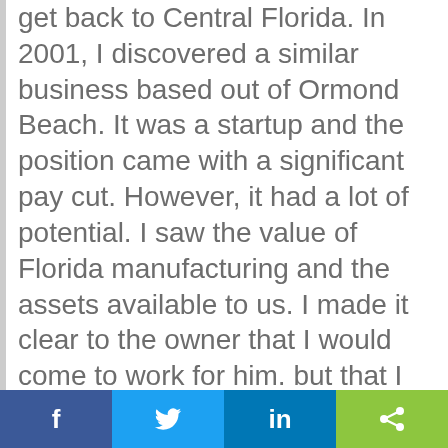get back to Central Florida. In 2001, I discovered a similar business based out of Ormond Beach. It was a startup and the position came with a significant pay cut. However, it had a lot of potential. I saw the value of Florida manufacturing and the assets available to us. I made it clear to the owner that I would come to work for him, but that I intended to buy him out in seven years. He understood and I joined the team. Fast forward to December of 2006, after growing the business and developing a national distribution network, we drafted a signed letter of intent and were two weeks away from closing on the deal. Long story short, the owner changed his mind without telling me. I was greeted
f  [Twitter]  in  [share]